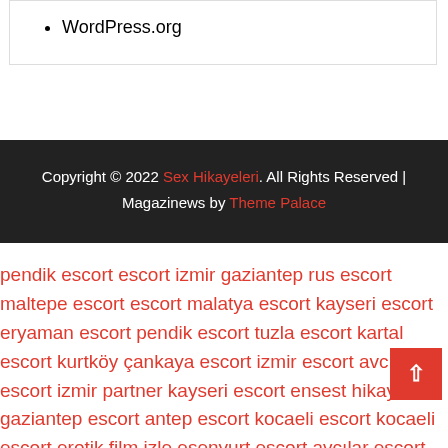WordPress.org
Copyright © 2022 Sex Hikayeleri. All Rights Reserved | Magazinews by Theme Palace
pendik escort escort izmir gaziantep rus escort maltepe escort escort malatya escort kayseri escort eryaman escort pendik escort tuzla escort kartal escort kurtköy çankaya escort izmir escort avcılar escort izmir partner kayseri escort ensest hikayeler gaziantep escort antep escort kocaeli escort kocaeli escort erotik film izle esenyurt escort avcılar escort ankara escort kocaeli esgort escort izmir izmir escort izmir es escort izmir izmir escort izmir escort ankara escort escort şişli